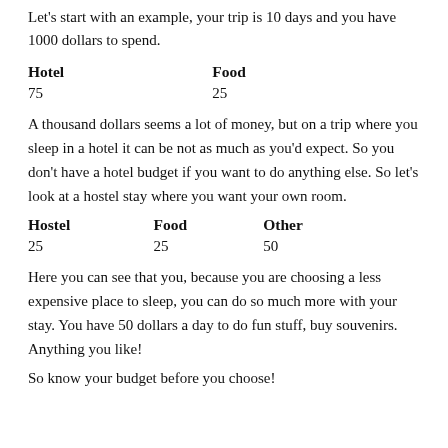Let's start with an example, your trip is 10 days and you have 1000 dollars to spend.
| Hotel | Food |
| --- | --- |
| 75 | 25 |
A thousand dollars seems a lot of money, but on a trip where you sleep in a hotel it can be not as much as you'd expect. So you don't have a hotel budget if you want to do anything else. So let's look at a hostel stay where you want your own room.
| Hostel | Food | Other |
| --- | --- | --- |
| 25 | 25 | 50 |
Here you can see that you, because you are choosing a less expensive place to sleep, you can do so much more with your stay. You have 50 dollars a day to do fun stuff, buy souvenirs. Anything you like!
So know your budget before you choose!